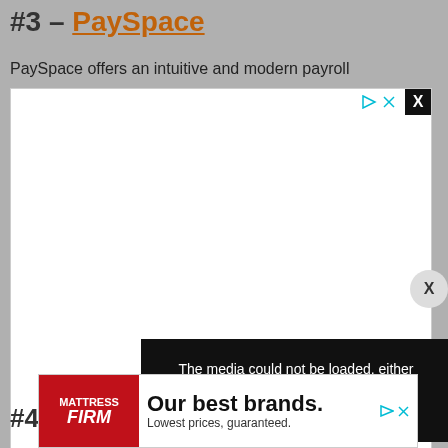#3 – PaySpace
PaySpace offers an intuitive and modern payroll
[Figure (other): White advertisement box with close X button and media controls (play/close icons in teal). Contains a media error overlay (black panel) with text: 'The media could not be loaded, either because the server or network failed or because the format is not supported.' with an X dismiss icon. A circular dismiss button is on the right side.]
[Figure (other): Mattress Firm banner advertisement with red Mattress Firm logo on left, text 'Our best brands. Lowest prices, guaranteed.' in center, and media controls on right.]
#4